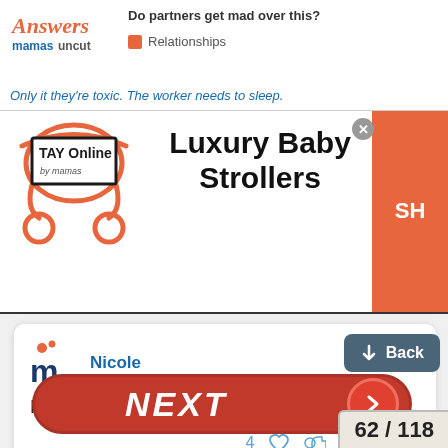Answers Mamas Uncut — Do partners get mad over this? Relationships
Only it they're toxic. The worker needs to sleep.
[Figure (screenshot): Advertisement banner for TAY Online Luxury Baby Strollers by mamas, with stroller logo on left, large bold text 'Luxury Baby Strollers' in center, and orange shop button on right]
Nicole  Jun 23
Nah dude. What a petty thing.
4 ♡  Reply
NEXT
Back
62 / 118